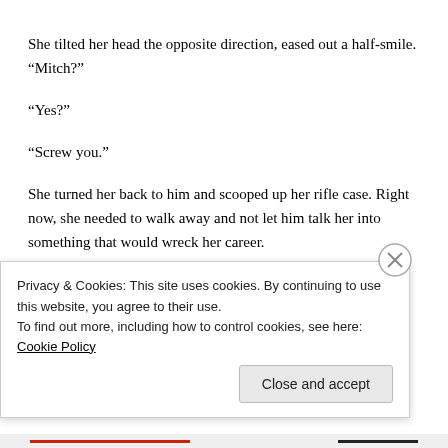She tilted her head the opposite direction, eased out a half-smile. “Mitch?”
“Yes?”
“Screw you.”
She turned her back to him and scooped up her rifle case. Right now, she needed to walk away and not let him talk her into something that would wreck her career.
Privacy & Cookies: This site uses cookies. By continuing to use this website, you agree to their use.
To find out more, including how to control cookies, see here: Cookie Policy